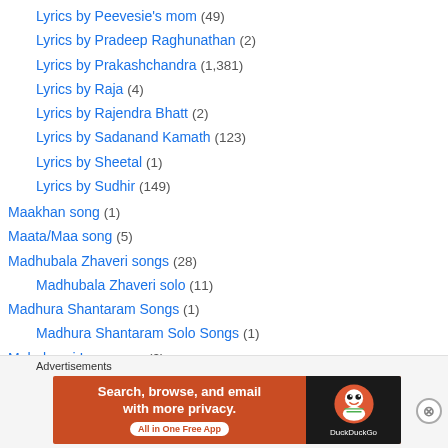Lyrics by Peevesie's mom (49)
Lyrics by Pradeep Raghunathan (2)
Lyrics by Prakashchandra (1,381)
Lyrics by Raja (4)
Lyrics by Rajendra Bhatt (2)
Lyrics by Sadanand Kamath (123)
Lyrics by Sheetal (1)
Lyrics by Sudhir (149)
Maakhan song (1)
Maata/Maa song (5)
Madhubala Zhaveri songs (28)
Madhubala Zhaveri solo (11)
Madhura Shantaram Songs (1)
Madhura Shantaram Solo Songs (1)
Mahalaxmi Iyer songs (2)
Mahalxmi Iyer solo songs (1)
[Figure (screenshot): DuckDuckGo advertisement banner with text 'Search, browse, and email with more privacy. All in One Free App' and DuckDuckGo logo on dark background]